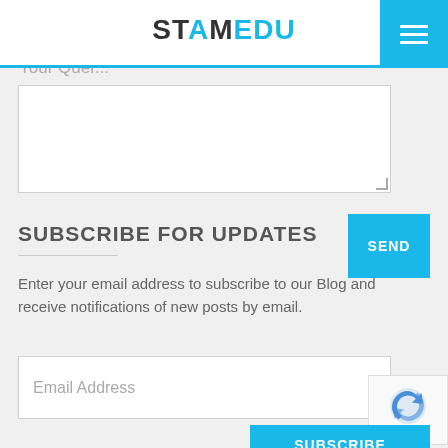STEAMEDU
Your Quer
[Figure (screenshot): Textarea input field for user query]
SEND
SUBSCRIBE FOR UPDATES
Enter your email address to subscribe to our Blog and receive notifications of new posts by email.
Email Address
SUBSCRIBE